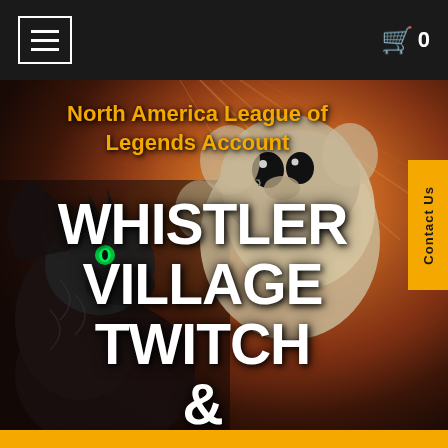≡  0
North America League of Legends Account
[Figure (illustration): Dark fantasy game artwork background featuring two League of Legends characters: a dark dragon-like creature on the left with green glowing eyes, and a lighter colored creature in the center-right, with warm orange/red background lighting]
WHISTLER VILLAGE TWITCH & BEWITCHING NIDALEE!
Contact Us